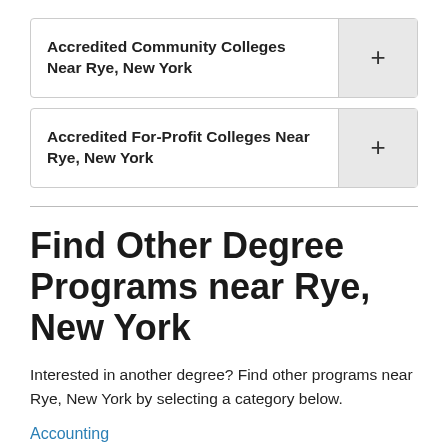Accredited Community Colleges Near Rye, New York
Accredited For-Profit Colleges Near Rye, New York
Find Other Degree Programs near Rye, New York
Interested in another degree? Find other programs near Rye, New York by selecting a category below.
Accounting